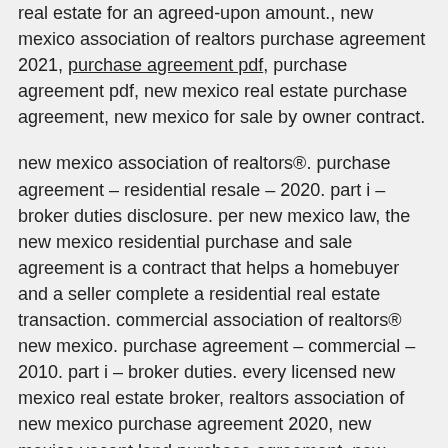real estate for an agreed-upon amount., new mexico association of realtors purchase agreement 2021, purchase agreement pdf, purchase agreement pdf, new mexico real estate purchase agreement, new mexico for sale by owner contract.
new mexico association of realtors®. purchase agreement – residential resale – 2020. part i – broker duties disclosure. per new mexico law, the new mexico residential purchase and sale agreement is a contract that helps a homebuyer and a seller complete a residential real estate transaction. commercial association of realtors® new mexico. purchase agreement – commercial – 2010. part i – broker duties. every licensed new mexico real estate broker, realtors association of new mexico purchase agreement 2020, new mexico vacant land purchase agreement, new mexico seller disclosure form, new mexico commercial real estate contract, new mexico unimproved property contract, house sales agreement pdf, realtors association of new mexico